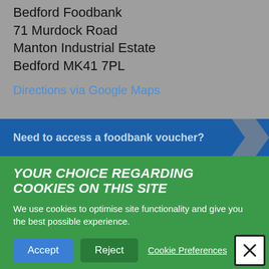Bedford Foodbank
71 Murdock Road
Manton Industrial Estate
Bedford MK41 7PL
Directions via Google Maps
Need to access a foodbank voucher?
YOUR CHOICE REGARDING COOKIES ON THIS SITE
We use cookies to optimise site functionality and give you the best possible experience.
Accept   Reject   Cookie Preferences   ✕